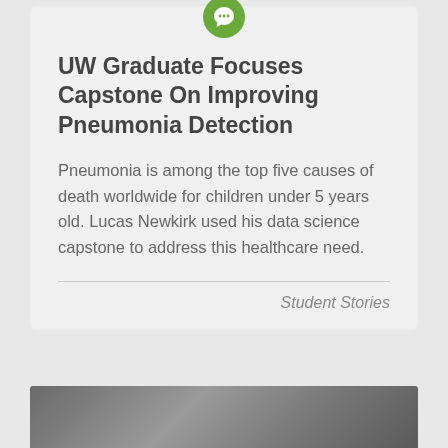[Figure (illustration): Green circle icon with a speech/chat bubble symbol inside]
UW Graduate Focuses Capstone On Improving Pneumonia Detection
Pneumonia is among the top five causes of death worldwide for children under 5 years old. Lucas Newkirk used his data science capstone to address this healthcare need.
Student Stories
[Figure (photo): Partial photo of a person visible at the bottom of the page]